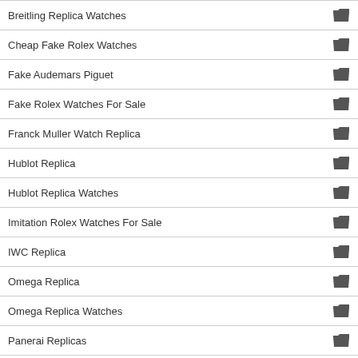Breitling Replica Watches
Cheap Fake Rolex Watches
Fake Audemars Piguet
Fake Rolex Watches For Sale
Franck Muller Watch Replica
Hublot Replica
Hublot Replica Watches
Imitation Rolex Watches For Sale
IWC Replica
Omega Replica
Omega Replica Watches
Panerai Replicas
Patek Philippe Replica Watches